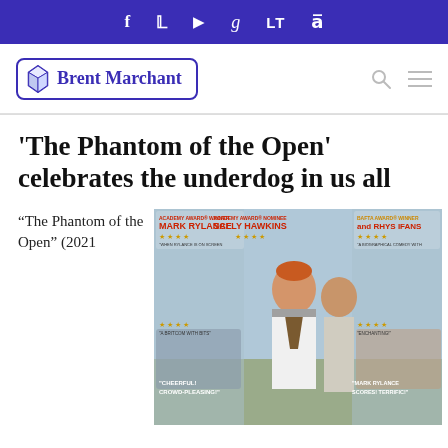f  Twitter  YouTube  g  LT  a
[Figure (logo): Brent Marchant website logo with diamond gem icon and site name in blue bordered rectangle]
'The Phantom of the Open' celebrates the underdog in us all
"The Phantom of the Open" (2021
[Figure (photo): Movie poster for 'The Phantom of the Open' featuring Mark Rylance (Academy Award Winner), Sally Hawkins (Academy Award Nominee), and Rhys Ifans (BAFTA Award Winner). Includes star ratings and quotes: 'When Rylance is on screen everyone's a winner! Thrillingly unpredictable!', 'A biographical comedy with an unlikely hero that will both make you laugh and cry.', 'A Britcom with Bits', 'Enchanting!', 'Cheerful! Crowd-Pleasing!', 'Mark Rylance scores! Terrifici']